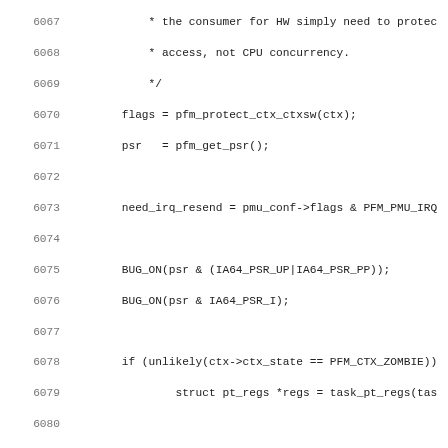Source code listing, lines 6067-6099, C kernel code for pfm context switch handling